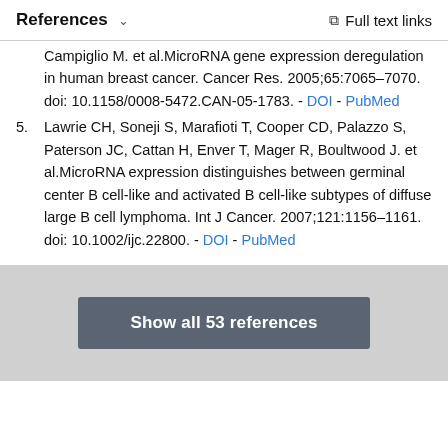References   ∨   Full text links
Campiglio M. et al. MicroRNA gene expression deregulation in human breast cancer. Cancer Res. 2005;65:7065–7070. doi: 10.1158/0008-5472.CAN-05-1783. - DOI - PubMed
5. Lawrie CH, Soneji S, Marafioti T, Cooper CD, Palazzo S, Paterson JC, Cattan H, Enver T, Mager R, Boultwood J. et al. MicroRNA expression distinguishes between germinal center B cell-like and activated B cell-like subtypes of diffuse large B cell lymphoma. Int J Cancer. 2007;121:1156–1161. doi: 10.1002/ijc.22800. - DOI - PubMed
Show all 53 references